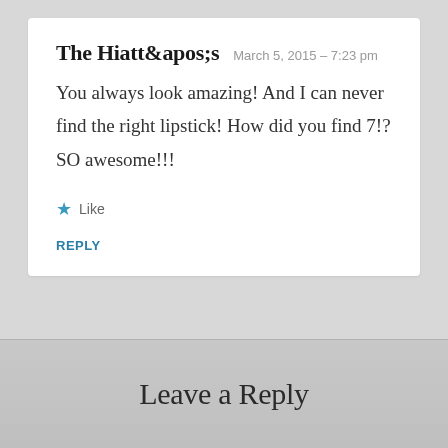The Hiatt&apos;s   March 5, 2015 – 7:23 pm
You always look amazing! And I can never find the right lipstick! How did you find 7!? SO awesome!!!
★ Like
REPLY
Leave a Reply